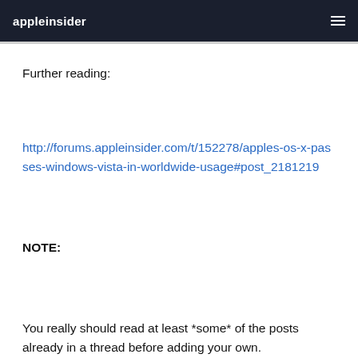appleinsider
Further reading:
http://forums.appleinsider.com/t/152278/apples-os-x-passes-windows-vista-in-worldwide-usage#post_2181219
NOTE:
You really should read at least *some* of the posts already in a thread before adding your own.